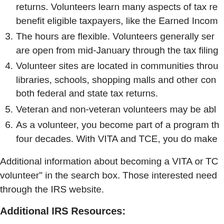returns. Volunteers learn many aspects of tax returns, including credits that benefit eligible taxpayers, like the Earned Income...
3. The hours are flexible. Volunteers generally serve at sites that are open from mid-January through the tax filing...
4. Volunteer sites are located in communities through libraries, schools, shopping malls and other con... both federal and state tax returns.
5. Veteran and non-veteran volunteers may be able...
6. As a volunteer, you become part of a program that has lasted four decades. With VITA and TCE, you do make...
Additional information about becoming a VITA or TCE volunteer" in the search box. Those interested need through the IRS website.
Additional IRS Resources: